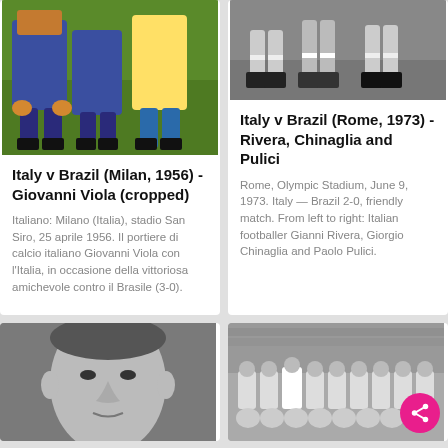[Figure (photo): Cropped color photo showing legs and lower bodies of football players on a green pitch, Italy vs Brazil 1956]
Italy v Brazil (Milan, 1956) - Giovanni Viola (cropped)
Italiano: Milano (Italia), stadio San Siro, 25 aprile 1956. Il portiere di calcio italiano Giovanni Viola con l’Italia, in occasione della vittoriosa amichevole contro il Brasile (3-0).
[Figure (photo): Black and white photo showing legs/feet of players on a grass pitch, Italy vs Brazil 1973]
Italy v Brazil (Rome, 1973) - Rivera, Chinaglia and Pulici
Rome, Olympic Stadium, June 9, 1973. Italy — Brazil 2-0, friendly match. From left to right: Italian footballer Gianni Rivera, Giorgio Chinaglia and Paolo Pulici.
[Figure (photo): Black and white portrait of a male footballer, close-up face shot]
[Figure (photo): Black and white group photo of a football team posed together on a pitch, with a share button overlay]